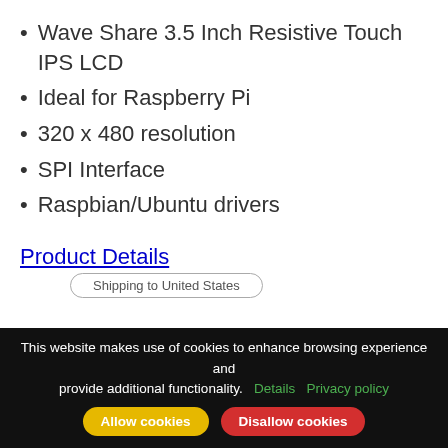Wave Share 3.5 Inch Resistive Touch IPS LCD
Ideal for Raspberry Pi
320 x 480 resolution
SPI Interface
Raspbian/Ubuntu drivers
Product Details
Shipping to United States
This website makes use of cookies to enhance browsing experience and provide additional functionality.  Details  Privacy policy
Allow cookies
Disallow cookies